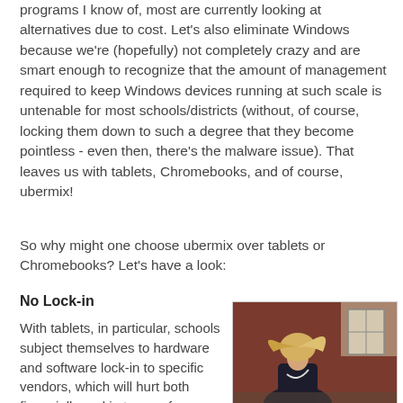programs I know of, most are currently looking at alternatives due to cost. Let's also eliminate Windows because we're (hopefully) not completely crazy and are smart enough to recognize that the amount of management required to keep Windows devices running at such scale is untenable for most schools/districts (without, of course, locking them down to such a degree that they become pointless - even then, there's the malware issue). That leaves us with tablets, Chromebooks, and of course, ubermix!
So why might one choose ubermix over tablets or Chromebooks? Let's have a look:
No Lock-in
With tablets, in particular, schools subject themselves to hardware and software lock-in to specific vendors, which will hurt both financially and in terms of flexibility over the long term. Tablets rely heavily on
[Figure (photo): Photo of a person with blonde hair wearing a dark jacket, appearing to be outdoors near a brick building]